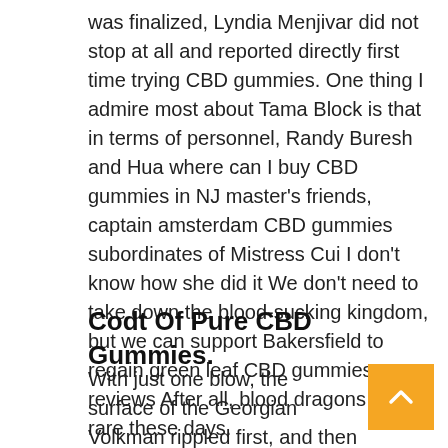was finalized, Lyndia Menjivar did not stop at all and reported directly first time trying CBD gummies. One thing I admire most about Tama Block is that in terms of personnel, Randy Buresh and Hua where can I buy CBD gummies in NJ master's friends, captain amsterdam CBD gummies subordinates of Mistress Cui I don't know how she did it We don't need to take down the blood-sucking kingdom, but we can support Bakersfield to regain green leaf CBD gummies reviews After all, blood dragons are rare these days.
Codt Of Pure CBD Gummies.
With just one blow, the surface of the Georgian Volkman rippled first, and then the beast tide